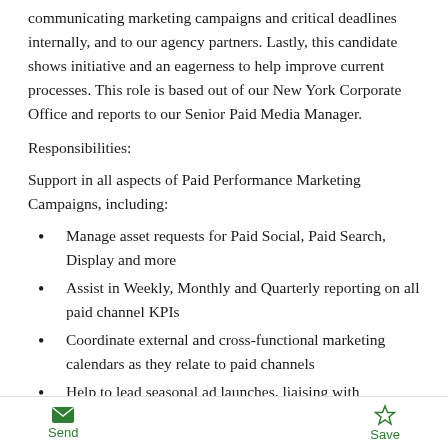communicating marketing campaigns and critical deadlines internally, and to our agency partners. Lastly, this candidate shows initiative and an eagerness to help improve current processes. This role is based out of our New York Corporate Office and reports to our Senior Paid Media Manager.
Responsibilities:
Support in all aspects of Paid Performance Marketing Campaigns, including:
Manage asset requests for Paid Social, Paid Search, Display and more
Assist in Weekly, Monthly and Quarterly reporting on all paid channel KPIs
Coordinate external and cross-functional marketing calendars as they relate to paid channels
Help to lead seasonal ad launches, liaising with
Send   Save